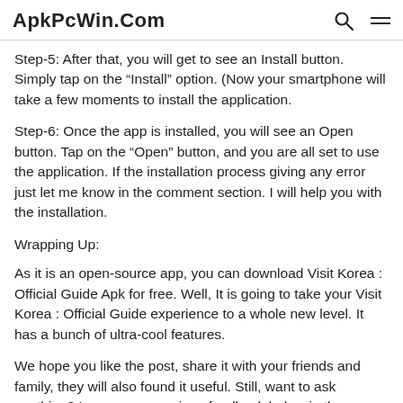ApkPcWin.Com
Step-5: After that, you will get to see an Install button. Simply tap on the “Install” option. (Now your smartphone will take a few moments to install the application.
Step-6: Once the app is installed, you will see an Open button. Tap on the “Open” button, and you are all set to use the application. If the installation process giving any error just let me know in the comment section. I will help you with the installation.
Wrapping Up:
As it is an open-source app, you can download Visit Korea : Official Guide Apk for free. Well, It is going to take your Visit Korea : Official Guide experience to a whole new level. It has a bunch of ultra-cool features.
We hope you like the post, share it with your friends and family, they will also found it useful. Still, want to ask anything? Leave your precious feedback below in the comments box. I will get back to you soon.